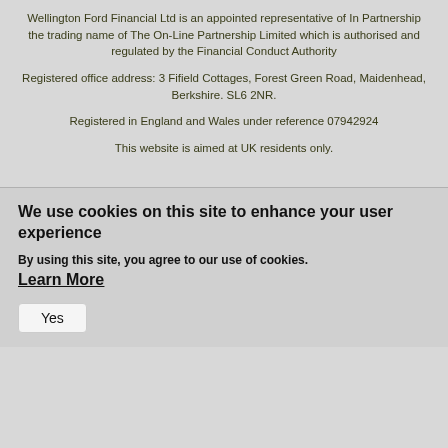Wellington Ford Financial Ltd is an appointed representative of In Partnership the trading name of The On-Line Partnership Limited which is authorised and regulated by the Financial Conduct Authority
Registered office address: 3 Fifield Cottages, Forest Green Road, Maidenhead, Berkshire. SL6 2NR.
Registered in England and Wales under reference 07942924
This website is aimed at UK residents only.
We use cookies on this site to enhance your user experience
By using this site, you agree to our use of cookies.
Learn More
Yes